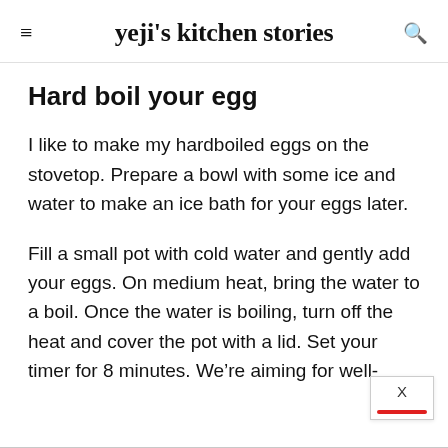yeji's kitchen stories
Hard boil your egg
I like to make my hardboiled eggs on the stovetop. Prepare a bowl with some ice and water to make an ice bath for your eggs later.
Fill a small pot with cold water and gently add your eggs. On medium heat, bring the water to a boil. Once the water is boiling, turn off the heat and cover the pot with a lid. Set your timer for 8 minutes. We’re aiming for well-